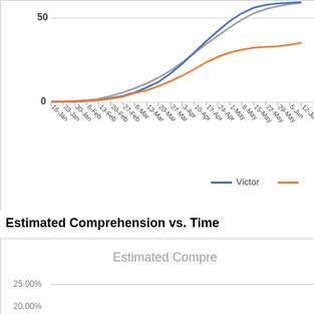[Figure (line-chart): Chart (top portion visible)]
Estimated Comprehension vs. Time
[Figure (line-chart): Estimated Comprehension]